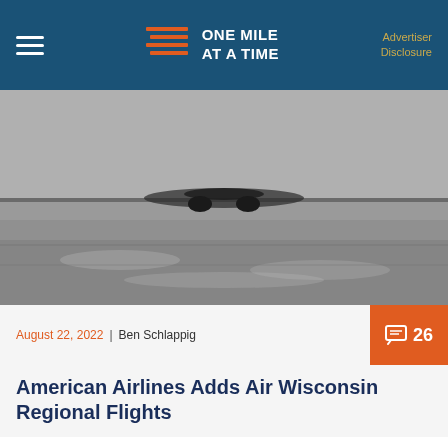ONE MILE AT A TIME | Advertiser Disclosure
[Figure (photo): Black and white photo of an airplane on a wet tarmac/runway]
August 22, 2022 | Ben Schlappig
American Airlines Adds Air Wisconsin Regional Flights
[Figure (photo): Interior of an airplane cabin showing overhead bins with yellow-green tinting]